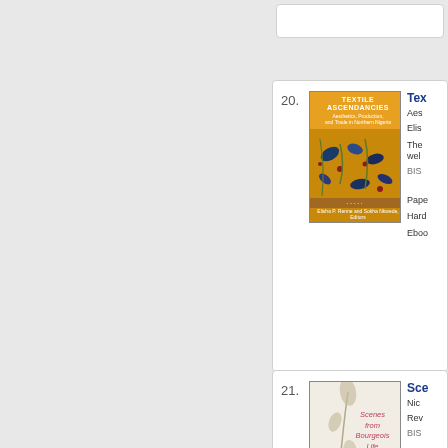[Figure (illustration): Book listing #20: Textile Ascendancies book cover (orange/brown with decorative textile pattern) with title, author, description, BISAC, and pricing info cut off at right edge]
20. Tex... Aes... Elis... The... wel... BIS... Pape... Hard... Eboo...
[Figure (illustration): Book listing #21: Scenes from Bourgeois Life book cover (cream/beige with red italic title) with partially visible title, author info cut off at right edge]
21. Sce... Nic... Rev... BIS...